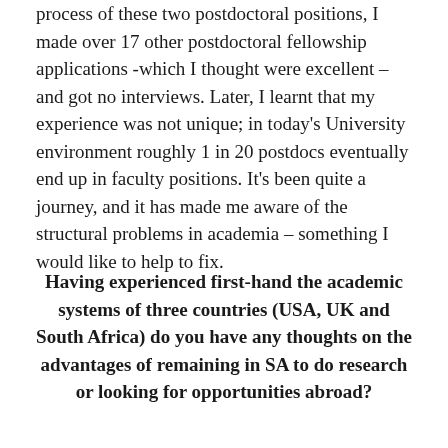process of these two postdoctoral positions, I made over 17 other postdoctoral fellowship applications -which I thought were excellent – and got no interviews. Later, I learnt that my experience was not unique; in today's University environment roughly 1 in 20 postdocs eventually end up in faculty positions. It's been quite a journey, and it has made me aware of the structural problems in academia – something I would like to help to fix.
Having experienced first-hand the academic systems of three countries (USA, UK and South Africa) do you have any thoughts on the advantages of remaining in SA to do research or looking for opportunities abroad?